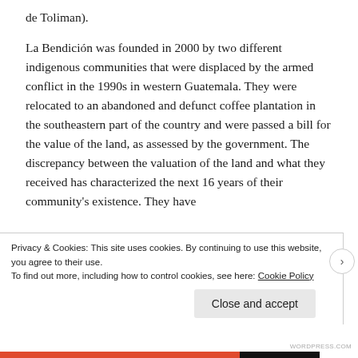de Toliman).
La Bendición was founded in 2000 by two different indigenous communities that were displaced by the armed conflict in the 1990s in western Guatemala. They were relocated to an abandoned and defunct coffee plantation in the southeastern part of the country and were passed a bill for the value of the land, as assessed by the government. The discrepancy between the valuation of the land and what they received has characterized the next 16 years of their community's existence. They have
Privacy & Cookies: This site uses cookies. By continuing to use this website, you agree to their use.
To find out more, including how to control cookies, see here: Cookie Policy
Close and accept